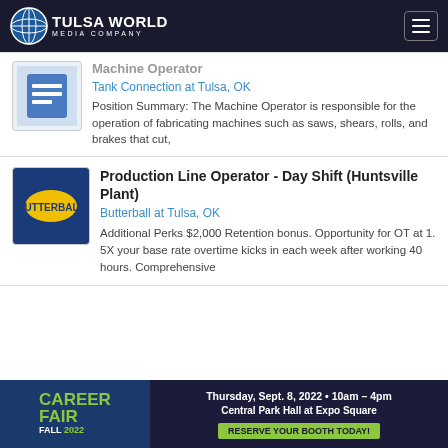Tulsa World Media Company
[Figure (logo): Tank Connection company logo icon - blue document icon]
Machine Operator
Tank Connection at Tulsa, OK
Position Summary: The Machine Operator is responsible for the operation of fabricating machines such as saws, shears, rolls, and brakes that cut,
[Figure (logo): Butterball logo - yellow oval on blue background]
Production Line Operator - Day Shift (Huntsville Plant)
Butterball at Tulsa, OK
Additional Perks $2,000 Retention bonus. Opportunity for OT at 1. 5X your base rate overtime kicks in each week after working 40 hours. Comprehensive
[Figure (infographic): Career Fair Fall 2022 banner ad. Thursday, Sept. 8, 2022 • 10am – 4pm. Central Park Hall at Expo Square. RESERVE YOUR BOOTH TODAY!]